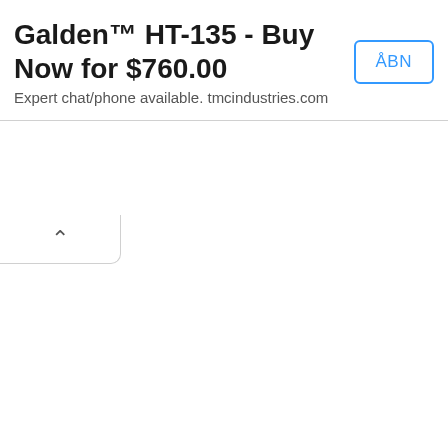[Figure (screenshot): Web advertisement banner for Galden HT-135 product with title 'Galden™ HT-135 - Buy Now for $760.00', subtitle 'Expert chat/phone available. tmcindustries.com', an ÅBN button, ad icons in top right, and a collapse/chevron tab below the banner.]